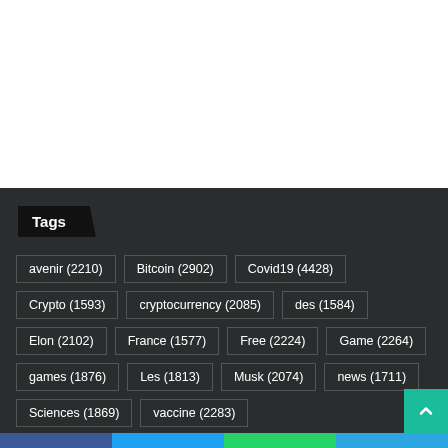Tags
avenir (2210)
Bitcoin (2902)
Covid19 (4428)
Crypto (1593)
cryptocurrency (2085)
des (1584)
Elon (2102)
France (1577)
Free (2224)
Game (2264)
games (1876)
Les (1813)
Musk (2074)
news (1711)
Sciences (1869)
vaccine (2283)